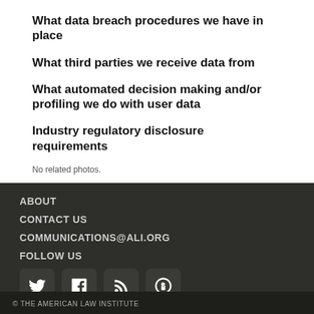What data breach procedures we have in place
What third parties we receive data from
What automated decision making and/or profiling we do with user data
Industry regulatory disclosure requirements
No related photos.
ABOUT
CONTACT US
COMMUNICATIONS@ALI.ORG
FOLLOW US
© THE AMERICAN LAW INSTITUTE